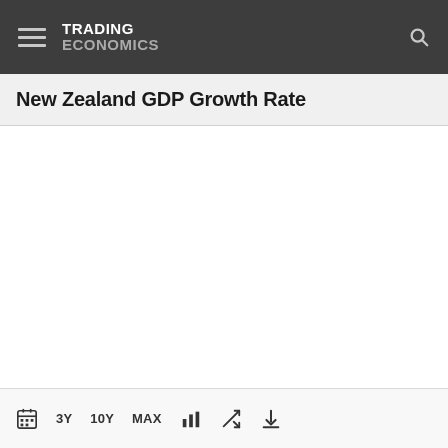TRADING ECONOMICS
New Zealand GDP Growth Rate
[Figure (other): Empty chart area placeholder for New Zealand GDP Growth Rate time series chart]
3Y  10Y  MAX  [chart icon] [shuffle icon] [download icon]